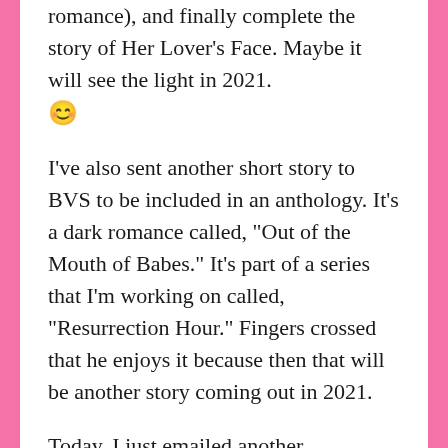romance), and finally complete the story of Her Lover’s Face. Maybe it will see the light in 2021. 😊
I’ve also sent another short story to BVS to be included in an anthology. It’s a dark romance called, “Out of the Mouth of Babes.” It’s part of a series that I’m working on called, “Resurrection Hour.” Fingers crossed that he enjoys it because then that will be another story coming out in 2021.
Today, I just emailed another publishing company in hopes that my story, “Into the Fire” will see publication again in another anthology. I’m quite attached to this one.
Aside from these, I have four other completed